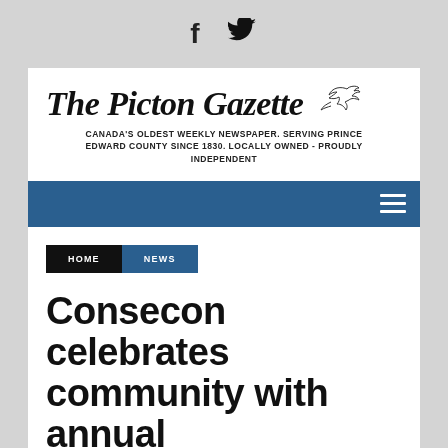[Figure (logo): Social media icons: Facebook (f) and Twitter (bird) icons in dark color on light gray background]
The Picton Gazette
CANADA'S OLDEST WEEKLY NEWSPAPER. SERVING PRINCE EDWARD COUNTY SINCE 1830. LOCALLY OWNED - PROUDLY INDEPENDENT
[Figure (other): Blue navigation bar with hamburger menu icon on right]
HOME  NEWS
Consecon celebrates community with annual civic celebration